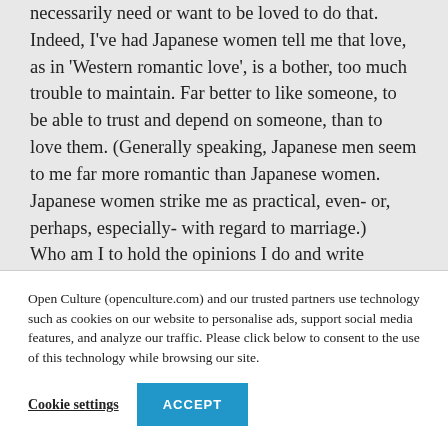necessarily need or want to be loved to do that. Indeed, I've had Japanese women tell me that love, as in 'Western romantic love', is a bother, too much trouble to maintain. Far better to like someone, to be able to trust and depend on someone, than to love them. (Generally speaking, Japanese men seem to me far more romantic than Japanese women. Japanese women strike me as practical, even- or, perhaps, especially- with regard to marriage.)

Who am I to hold the opinions I do and write
Open Culture (openculture.com) and our trusted partners use technology such as cookies on our website to personalise ads, support social media features, and analyze our traffic. Please click below to consent to the use of this technology while browsing our site.
Cookie settings
ACCEPT